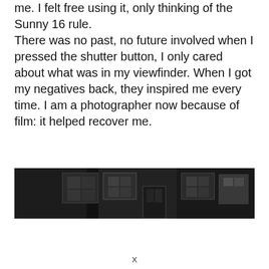me. I felt free using it, only thinking of the Sunny 16 rule. There was no past, no future involved when I pressed the shutter button, I only cared about what was in my viewfinder. When I got my negatives back, they inspired me every time. I am a photographer now because of film: it helped recover me.
[Figure (photo): A dark, high-contrast black and white photograph showing a building facade with brick walls, windows with frames, and a door. The image is very dark with minimal light areas.]
X